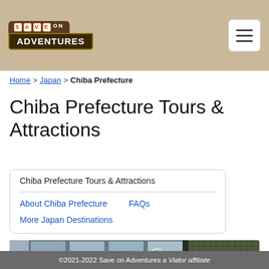Save on Adventures
Home > Japan > Chiba Prefecture
Chiba Prefecture Tours & Attractions
Chiba Prefecture Tours & Attractions
About Chiba Prefecture
FAQs
More Japan Destinations
[Figure (photo): Street-level photo of a commercial building in Chiba Prefecture, Japan, showing glass facade and signage]
©2021-2022 Save on Adventures a Viator affiliate